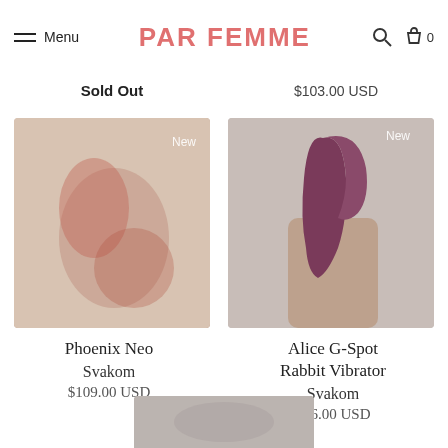Menu | PAR FEMME | Search | Cart 0
Sold Out
$103.00 USD
[Figure (photo): Blurred product image with red tones, New badge in top right corner]
[Figure (photo): Hand holding a dark purple/maroon G-spot rabbit vibrator against light background, New badge in top right corner]
Phoenix Neo
Svakom
$109.00 USD
Alice G-Spot Rabbit Vibrator
Svakom
$86.00 USD
[Figure (photo): Partially visible product image at bottom of page, gray tones]